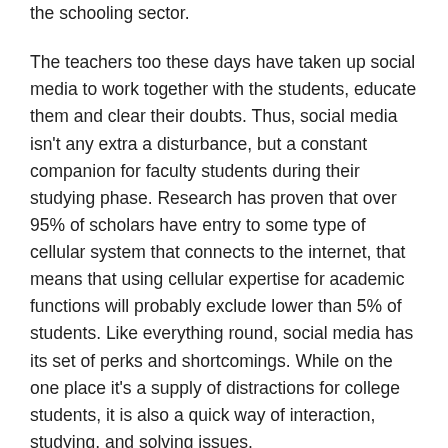the schooling sector.
The teachers too these days have taken up social media to work together with the students, educate them and clear their doubts. Thus, social media isn't any extra a disturbance, but a constant companion for faculty students during their studying phase. Research has proven that over 95% of scholars have entry to some type of cellular system that connects to the internet, that means that using cellular expertise for academic functions will probably exclude lower than 5% of students. Like everything round, social media has its set of perks and shortcomings. While on the one place it's a supply of distractions for college students, it is also a quick way of interaction, studying, and solving issues.
Get ideas, articles, and insights about children's mental health and studying issues. It's also surprisingly simple to really feel lonely in the center of all that hyperconnection. For one factor, kids now know with depressing certainty when they're being ignored. We all have phones and all of us respond to issues